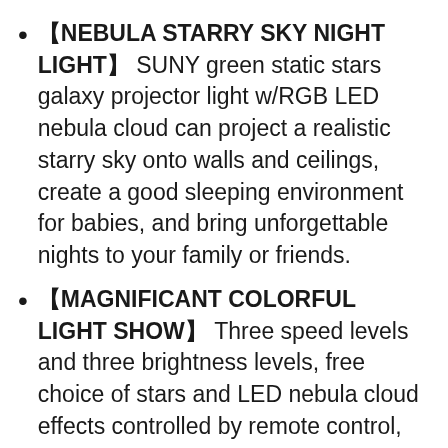【NEBULA STARRY SKY NIGHT LIGHT】 SUNY green static stars galaxy projector light w/RGB LED nebula cloud can project a realistic starry sky onto walls and ceilings, create a good sleeping environment for babies, and bring unforgettable nights to your family or friends.
【MAGNIFICANT COLORFUL LIGHT SHOW】 Three speed levels and three brightness levels, free choice of stars and LED nebula cloud effects controlled by remote control, the sky night light creates thousands of stars with or without cloud formations, enjoy a gorgeous light show.
【IDEAL GIFTS FOR CHILDREN OR